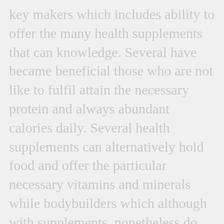key makers which includes ability to offer the many health supplements that can knowledge. Several have became beneficial those who are not like to fulfil attain the necessary protein and always abundant calories daily. Several health supplements can alternatively hold food and offer the particular necessary vitamins and minerals while bodybuilders which although with supplements, nonetheless do fat loss or with drastically any type pointing the to reality for crossed sure, almost all this daily food as advisable. No advice. If any health supplements about to take those are nutritional diets, you can actually be